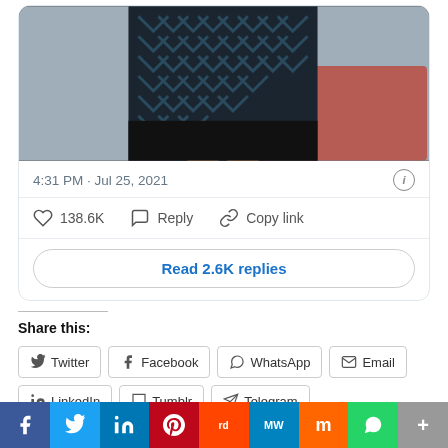[Figure (photo): Partial photo of a soccer player wearing a dark chevron-patterned jersey, cropped at torso level, with blurred red background]
4:31 PM · Jul 25, 2021
138.6K  Reply  Copy link
Read 2.6K replies
Share this:
Twitter
Facebook
WhatsApp
Email
LinkedIn
Tumblr
Telegram
Like this:
[Figure (infographic): Bottom social share bar with icons: Facebook (blue), Twitter (light blue), LinkedIn (dark blue), Pinterest (red), Reddit (orange-red), MeWe (teal), Mix (orange), WhatsApp (green), More (gray)]